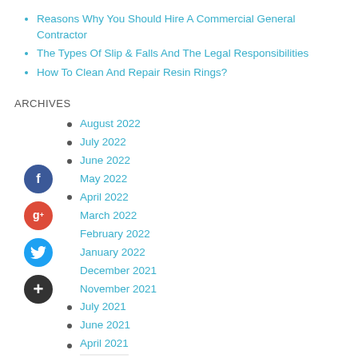Reasons Why You Should Hire A Commercial General Contractor
The Types Of Slip & Falls And The Legal Responsibilities
How To Clean And Repair Resin Rings?
ARCHIVES
August 2022
July 2022
June 2022
May 2022
April 2022
March 2022
February 2022
January 2022
December 2021
November 2021
July 2021
June 2021
April 2021